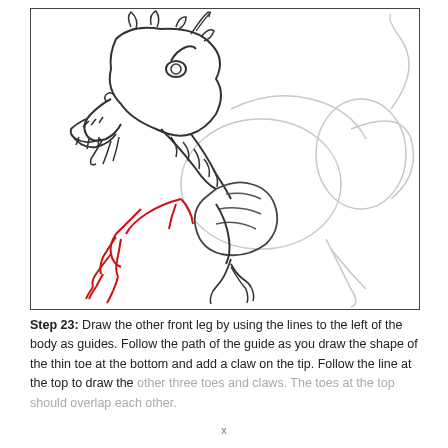[Figure (illustration): Step-by-step drawing tutorial illustration showing a Chinese dragon in progress. The dragon head with open mouth and whiskers is fully drawn in dark lines on the upper left. A red-outlined front leg with claws is shown on the lower left. The body, rear leg with claws, tail, and hind body are drawn in light gray guide lines on the right side, with some darker lines on the torso/body area.]
Step 23: Draw the other front leg by using the lines to the left of the body as guides. Follow the path of the guide as you draw the shape of the thin toe at the bottom and add a claw on the tip. Follow the line at the top to draw the other three toes and claws. The toes at the top should overlap each other.
x